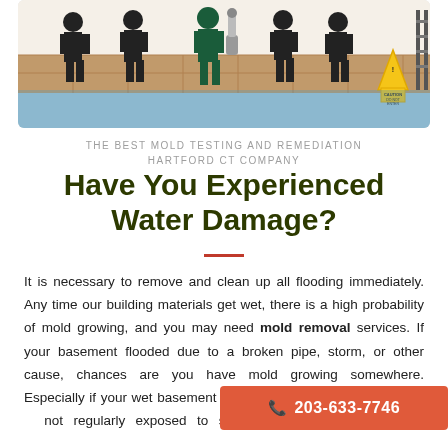[Figure (illustration): Workers in green uniforms cleaning/remediating a flooded commercial space with vacuums and mops. A yellow caution 'do not enter' sign is visible on the right side. The scene shows several figures against a tiled wall background.]
THE BEST MOLD TESTING AND REMEDIATION HARTFORD CT COMPANY
Have You Experienced Water Damage?
It is necessary to remove and clean up all flooding immediately. Any time our building materials get wet, there is a high probability of mold growing, and you may need mold removal services. If your basement flooded due to a broken pipe, storm, or other cause, chances are you have mold growing somewhere. Especially if your wet basement was not cleaned imm... not regularly exposed to sun and fres...